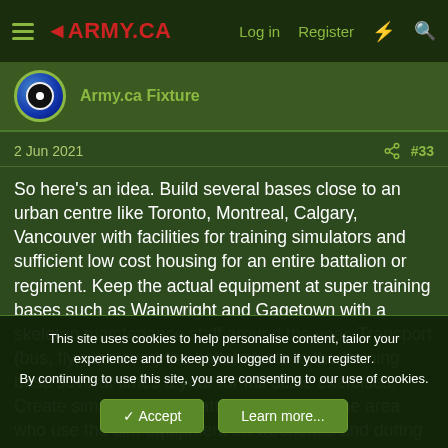ARMY.CA — Log in  Register
Army.ca Fixture
2 Jun 2021  #33
So here's an idea. Build several bases close to an urban centre like Toronto, Montreal, Calgary, Vancouver with facilities for training simulators and sufficient low cost housing for an entire battalion or regiment. Keep the actual equipment at super training bases such as Wainwright and Gagetown with a skeleton maintenance staff around the year. Transport (bus, fly, whatever) the battalion etc to the training base several times a year for full-scale exercises. Create similar reserve battalions in the same area who use the sim equipment on weekends and during the summer and do an annual exercise with the real stuff
This site uses cookies to help personalise content, tailor your experience and to keep you logged in if you register.
By continuing to use this site, you are consenting to our use of cookies.
✓ Accept   Learn more...